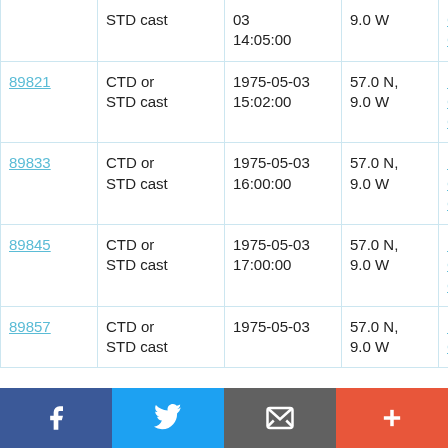|  | STD cast | 03
14:05:00 | 9.0 W | Challenger
CH7A/75 |
| 89821 | CTD or
STD cast | 1975-05-03
15:02:00 | 57.0 N,
9.0 W | RRS
Challenger
CH7A/75 |
| 89833 | CTD or
STD cast | 1975-05-03
16:00:00 | 57.0 N,
9.0 W | RRS
Challenger
CH7A/75 |
| 89845 | CTD or
STD cast | 1975-05-03
17:00:00 | 57.0 N,
9.0 W | RRS
Challenger
CH7A/75 |
| 89857 | CTD or
STD cast | 1975-05-03 | 57.0 N,
9.0 W | RRS
Challenger |